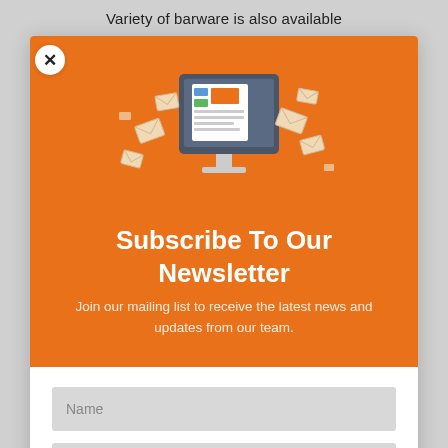Variety of barware is also available
[Figure (illustration): Newsletter subscription popup modal with orange header section containing an illustration of a computer monitor with newspapers and flying envelopes, bold white title 'Subscribe To Our Newsletter', descriptive text, and a white form section with Name and Email input fields]
Subscribe To Our Newsletter
Join our mailing list to receive the latest news and updates from our team.